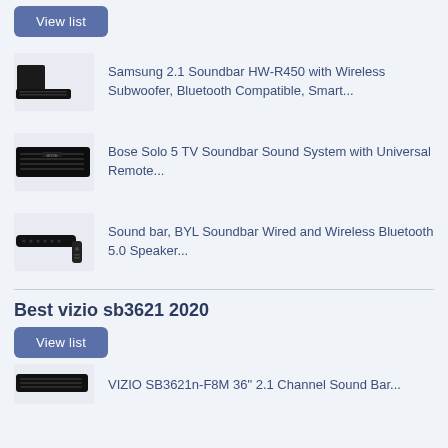Samsung 2.1 Soundbar HW-R450 with Wireless Subwoofer, Bluetooth Compatible, Smart...
Bose Solo 5 TV Soundbar Sound System with Universal Remote...
Sound bar, BYL Soundbar Wired and Wireless Bluetooth 5.0 Speaker...
Best vizio sb3621 2020
VIZIO SB3621n-F8M 36" 2.1 Channel Sound Bar...